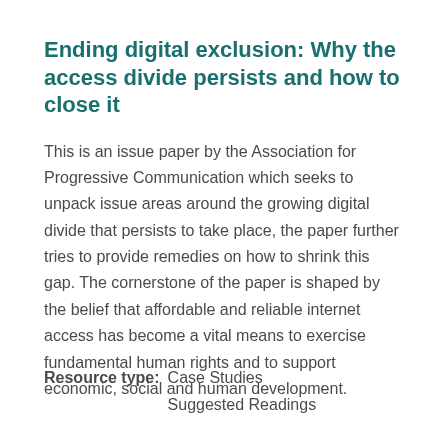Ending digital exclusion: Why the access divide persists and how to close it
This is an issue paper by the Association for Progressive Communication which seeks to unpack issue areas around the growing digital divide that persists to take place, the paper further tries to provide remedies on how to shrink this gap. The cornerstone of the paper is shaped by the belief that affordable and reliable internet access has become a vital means to exercise fundamental human rights and to support economic, social and human development.
Resource type: Case Studies
Suggested Readings